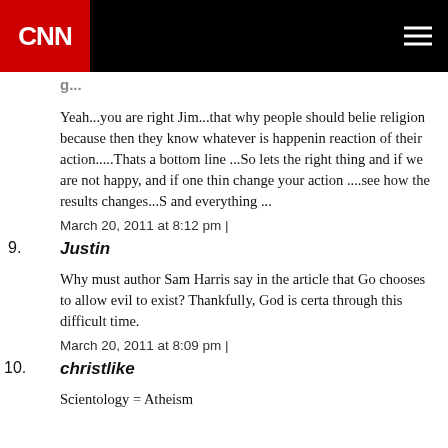CNN Home +
Yeah...you are right Jim...that why people should believe religion because then they know whatever is happening reaction of their action.....Thats a bottom line ...So lets the right thing and if we are not happy, and if one thin change your action ....see how the results changes...S and everything ...
March 20, 2011 at 8:12 pm |
9. Justin
Why must author Sam Harris say in the article that Go chooses to allow evil to exist? Thankfully, God is certa through this difficult time.
March 20, 2011 at 8:09 pm |
10. christlike
Scientology = Atheism